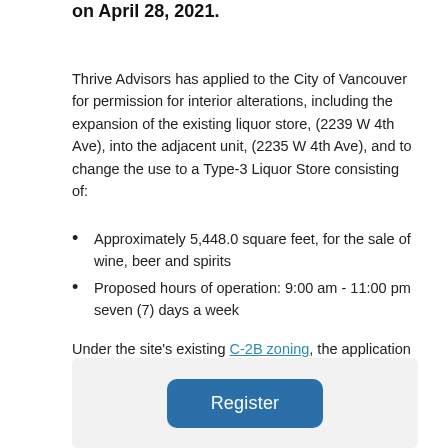on April 28, 2021.
Thrive Advisors has applied to the City of Vancouver for permission for interior alterations, including the expansion of the existing liquor store, (2239 W 4th Ave), into the adjacent unit, (2235 W 4th Ave), and to change the use to a Type-3 Liquor Store consisting of:
Approximately 5,448.0 square feet, for the sale of wine, beer and spirits
Proposed hours of operation: 9:00 am - 11:00 pm seven (7) days a week
Under the site's existing C-2B zoning, the application is “conditional” so it may be permitted. However, it requires the decision of the Director of Planning.
[Figure (other): Register button inside a light grey rounded box]